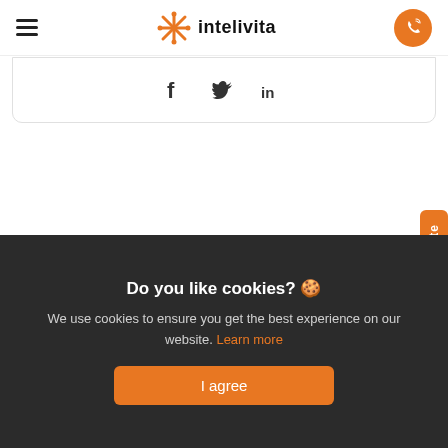intelivita
[Figure (logo): Intelivita logo with orange star/asterisk icon and text 'intelivita']
Social share icons: Facebook, Twitter, LinkedIn
Connect with us to Discuss More
Schedule a Call Now
Get Quote
Do you like cookies? 🍪
We use cookies to ensure you get the best experience on our website. Learn more
I agree